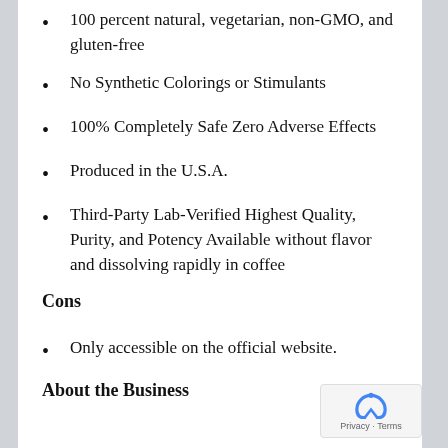100 percent natural, vegetarian, non-GMO, and gluten-free
No Synthetic Colorings or Stimulants
100% Completely Safe Zero Adverse Effects
Produced in the U.S.A.
Third-Party Lab-Verified Highest Quality, Purity, and Potency Available without flavor and dissolving rapidly in coffee
Cons
Only accessible on the official website.
About the Business